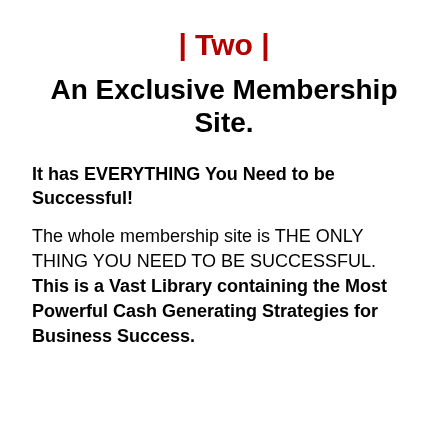| Two |
An Exclusive Membership Site.
It has EVERYTHING You Need to be Successful!
The whole membership site is THE ONLY THING YOU NEED TO BE SUCCESSFUL. This is a Vast Library containing the Most Powerful Cash Generating Strategies for Business Success.